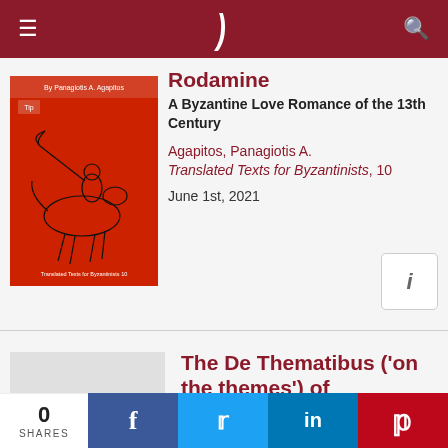≡ ) 🔍
Rodamine
A Byzantine Love Romance of the 13th Century
Agapitos, Panagiotis A.
Translated Texts for Byzantinists, 10
June 1st, 2021
[Figure (illustration): Book cover with red background showing a line drawing of a mounted horseman with a lance]
The De Thematibus ('on the themes') of Constantine VII Porphyrogenitus
Translated with introductory chapters and